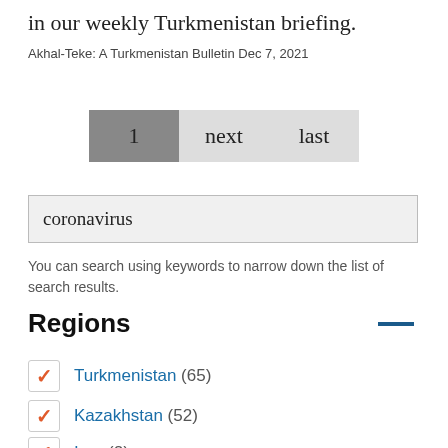in our weekly Turkmenistan briefing.
Akhal-Teke: A Turkmenistan Bulletin Dec 7, 2021
1  next  last
coronavirus
You can search using keywords to narrow down the list of search results.
Regions
Turkmenistan (65)
Kazakhstan (52)
Iran (2)